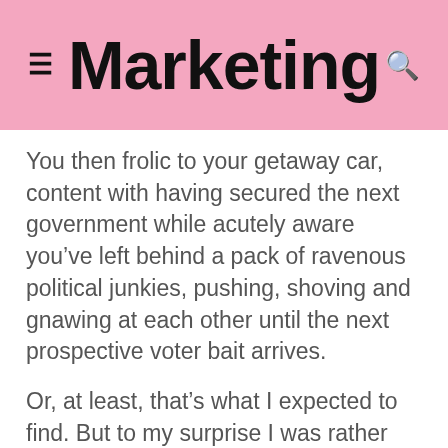Marketing
You then frolic to your getaway car, content with having secured the next government while acutely aware you've left behind a pack of ravenous political junkies, pushing, shoving and gnawing at each other until the next prospective voter bait arrives.
Or, at least, that's what I expected to find. But to my surprise I was rather enlightened by the experience.
Do political sides only hate each other when the cameras are on?
For starters, at least in this particular front line, all